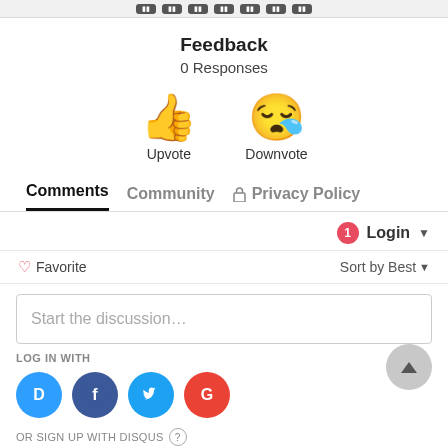[Figure (screenshot): Top bar with navigation buttons]
Feedback
0 Responses
[Figure (illustration): Thumbs up emoji (Upvote) and sad/crying emoji (Downvote) side by side]
Upvote    Downvote
Comments   Community   Privacy Policy
1  Login ▼
♡ Favorite    Sort by Best ▼
Start the discussion…
LOG IN WITH
[Figure (illustration): Social login icons: Disqus (blue), Facebook (dark blue), Twitter (light blue), Google (red)]
OR SIGN UP WITH DISQUS ?